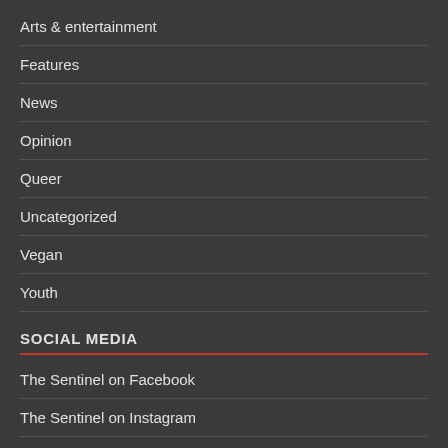Arts & entertainment
Features
News
Opinion
Queer
Uncategorized
Vegan
Youth
SOCIAL MEDIA
The Sentinel on Facebook
The Sentinel on Instagram
The Sentinel on Twitter
Email the Sentinel